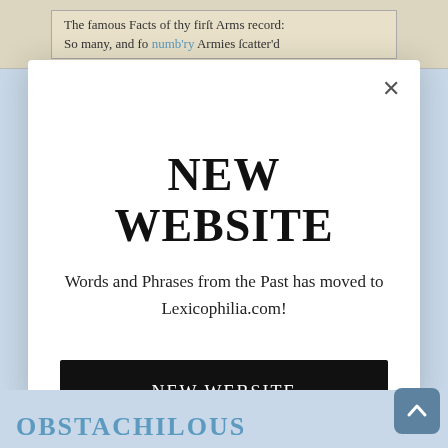The famous Facts of thy first Arms record:
So many, and so numb'ry Armies scatter'd
NEW WEBSITE
Words and Phrases from the Past has moved to Lexicophilia.com!
NEW WEBSITE
OBSTACHILOUS